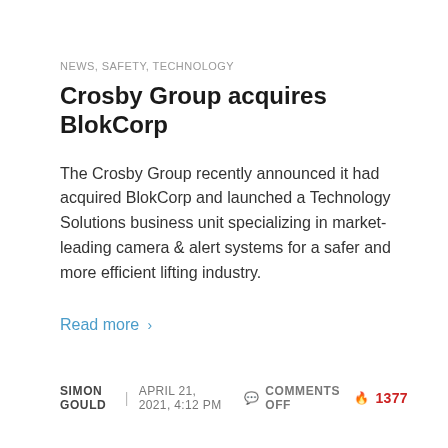NEWS, SAFETY, TECHNOLOGY
Crosby Group acquires BlokCorp
The Crosby Group recently announced it had acquired BlokCorp and launched a Technology Solutions business unit specializing in market-leading camera & alert systems for a safer and more efficient lifting industry.
Read more >
SIMON GOULD | APRIL 21, 2021, 4:12 PM  COMMENTS OFF  1377